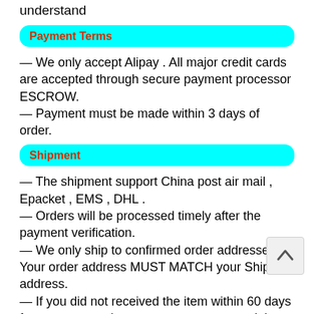understand
Payment Terms
— We only accept Alipay . All major credit cards are accepted through secure payment processor ESCROW.
— Payment must be made within 3 days of order.
Shipment
— The shipment support China post air mail , Epacket , EMS , DHL .
— Orders will be processed timely after the payment verification.
— We only ship to confirmed order addresses. Your order address MUST MATCH your Shipping address.
— If you did not received the item within 60 days from payment, please contact us to extend the dilivery date , thanks
Why Choose Us
— We are professional manufacturer of cell phone case in China. Our factory can produce many kinds of phone